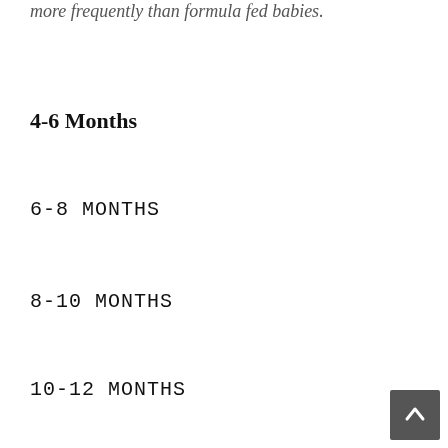more frequently than formula fed babies.
4-6 Months
6-8 MONTHS
8-10 MONTHS
10-12 MONTHS